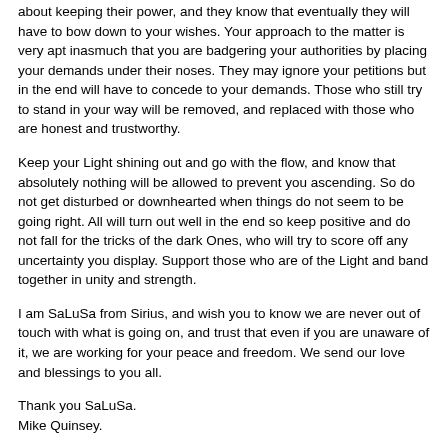about keeping their power, and they know that eventually they will have to bow down to your wishes. Your approach to the matter is very apt inasmuch that you are badgering your authorities by placing your demands under their noses. They may ignore your petitions but in the end will have to concede to your demands. Those who still try to stand in your way will be removed, and replaced with those who are honest and trustworthy.
Keep your Light shining out and go with the flow, and know that absolutely nothing will be allowed to prevent you ascending. So do not get disturbed or downhearted when things do not seem to be going right. All will turn out well in the end so keep positive and do not fall for the tricks of the dark Ones, who will try to score off any uncertainty you display. Support those who are of the Light and band together in unity and strength.
I am SaLuSa from Sirius, and wish you to know we are never out of touch with what is going on, and trust that even if you are unaware of it, we are working for your peace and freedom. We send our love and blessings to you all.
Thank you SaLuSa.
Mike Quinsey.